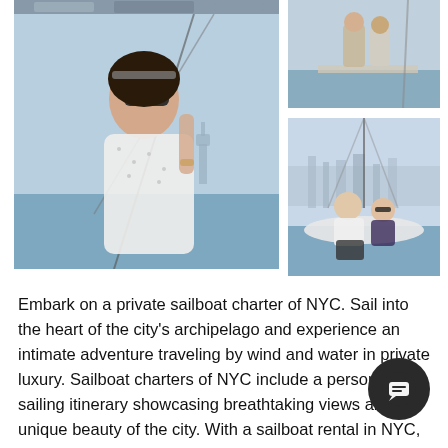[Figure (photo): Collage of four sailing/nautical photos: top strip showing people on a sailboat deck, large left photo of a woman with sunglasses on a sailboat with Statue of Liberty in background, top-right photo of two people standing on a boat deck, bottom-right photo of a couple sitting on the bow of a sailboat with NYC skyline behind them.]
Embark on a private sailboat charter of NYC. Sail into the heart of the city's archipelago and experience an intimate adventure traveling by wind and water in private luxury. Sailboat charters of NYC include a personalized sailing itinerary showcasing breathtaking views and the unique beauty of the city. With a sailboat rental in NYC, enjoy close-ups with the Statue of Liberty and then sail NYC to capture panoramic views of Ellis Island, Governors Island,